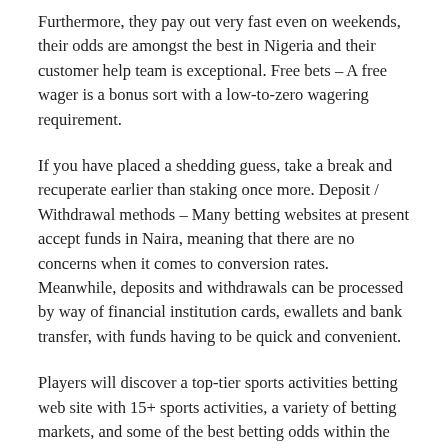Furthermore, they pay out very fast even on weekends, their odds are amongst the best in Nigeria and their customer help team is exceptional. Free bets – A free wager is a bonus sort with a low-to-zero wagering requirement.
If you have placed a shedding guess, take a break and recuperate earlier than staking once more. Deposit / Withdrawal methods – Many betting websites at present accept funds in Naira, meaning that there are no concerns when it comes to conversion rates. Meanwhile, deposits and withdrawals can be processed by way of financial institution cards, ewallets and bank transfer, with funds having to be quick and convenient.
Players will discover a top-tier sports activities betting web site with 15+ sports activities, a variety of betting markets, and some of the best betting odds within the trade at 2.52% in our tests. But, BetBig does not have so